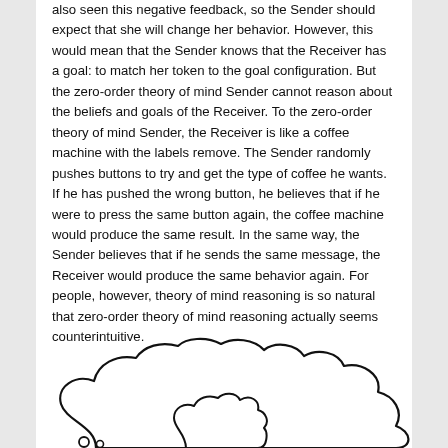also seen this negative feedback, so the Sender should expect that she will change her behavior. However, this would mean that the Sender knows that the Receiver has a goal: to match her token to the goal configuration. But the zero-order theory of mind Sender cannot reason about the beliefs and goals of the Receiver. To the zero-order theory of mind Sender, the Receiver is like a coffee machine with the labels remove. The Sender randomly pushes buttons to try and get the type of coffee he wants. If he has pushed the wrong button, he believes that if he were to press the same button again, the coffee machine would produce the same result. In the same way, the Sender believes that if he sends the same message, the Receiver would produce the same behavior again. For people, however, theory of mind reasoning is so natural that zero-order theory of mind reasoning actually seems counterintuitive.
[Figure (illustration): A thought bubble illustration — cloud-shaped outline visible at the bottom of the page, partially cropped, with two small circles at the bottom left suggesting a character's head.]